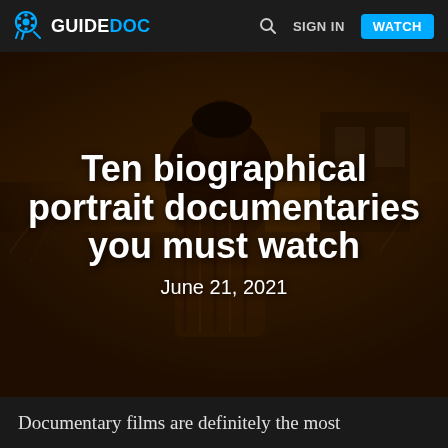GUIDEDOC — SIGN IN — WATCH
[Figure (photo): Sepia-toned photograph of a woman in a fur coat with a dark headscarf, standing outdoors in an overgrown yard near an old building. The image has a warm amber/brown color cast.]
Ten biographical portrait documentaries you must watch
June 21, 2021
Documentary films are definitely the most